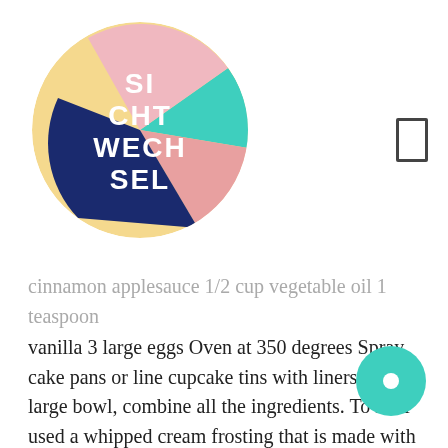[Figure (logo): Sichtwechsel circular logo with colorful segments (yellow, teal, pink, dark navy) and white text reading SI CHT WECH SEL]
cinnamon applesauce 1/2 cup vegetable oil 1 teaspoon vanilla 3 large eggs Oven at 350 degrees Spray cake pans or line cupcake tins with liners In a large bowl, combine all the ingredients. To ice I used a whipped cream frosting that is made with cream cheese and used maple extract instead vanilla. ; Eggs – Add one more egg than the mix directions call for. We've also added an Apple Spice Cream Cheese Recipe to our Recipe Section that is just heavenly with this cake! Scrape the bottom and sides of the bowl. I hope that your cake was done enough that you were able to use it. Do Not Sell My Personal Information – CA Residents. You would leave out the molasses and increase